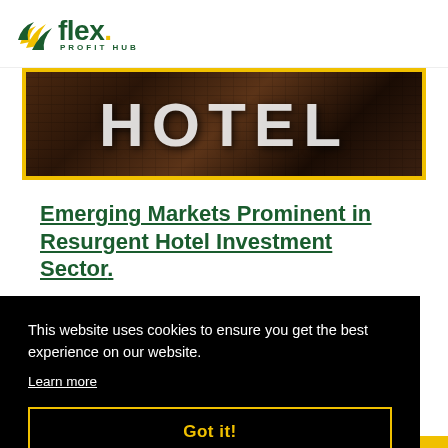flex. PROFIT HUB
[Figure (photo): Hotel sign photo showing illuminated HOTEL letters in vintage style with dark ornate background, framed with yellow border]
Emerging Markets Prominent in Resurgent Hotel Investment Sector.
This website uses cookies to ensure you get the best experience on our website.
Learn more
Got it!